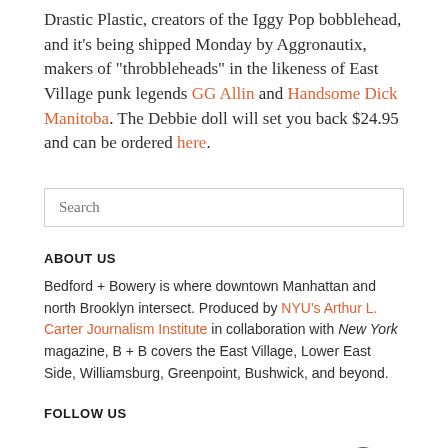Drastic Plastic, creators of the Iggy Pop bobblehead, and it’s being shipped Monday by Aggronautix, makers of “throbbleheads” in the likeness of East Village punk legends GG Allin and Handsome Dick Manitoba. The Debbie doll will set you back $24.95 and can be ordered here.
Search
ABOUT US
Bedford + Bowery is where downtown Manhattan and north Brooklyn intersect. Produced by NYU’s Arthur L. Carter Journalism Institute in collaboration with New York magazine, B + B covers the East Village, Lower East Side, Williamsburg, Greenpoint, Bushwick, and beyond.
FOLLOW US
[Figure (illustration): Social media icons: Twitter bird, Instagram camera, Facebook f, Spotify note]